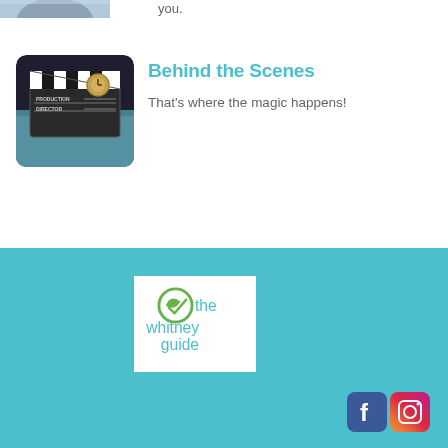you.
[Figure (photo): Film clapperboard (production/director) on a dark background, with rounded corners]
Behind the Scenes
That’s where the magic happens!
[Figure (logo): The Whitney Guide logo: green circular leaf icon with a checkmark, teal text reading 'the whitney guide']
[Figure (logo): Facebook and Instagram social media icons in the bottom-right corner of the teal footer]